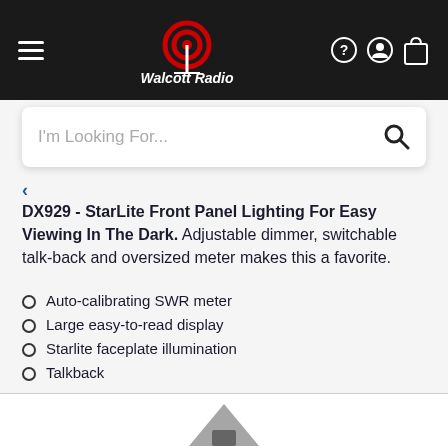Walcott Radio navigation bar with hamburger menu, logo, help, account, and cart icons
I'm Looking For...
DX929 - StarLite Front Panel Lighting For Easy Viewing In The Dark. Adjustable dimmer, switchable talk-back and oversized meter makes this a favorite.
Auto-calibrating SWR meter
Large easy-to-read display
Starlite faceplate illumination
Talkback
[Figure (screenshot): Partial product image visible at the bottom of the page]